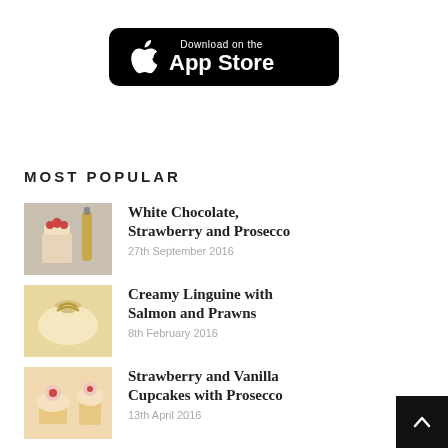[Figure (logo): Download on the App Store button (black rounded rectangle with Apple logo)]
MOST POPULAR
White Chocolate, Strawberry and Prosecco
27th September 2016
Creamy Linguine with Salmon and Prawns
8th February 2016
Strawberry and Vanilla Cupcakes with Prosecco
13th April 2016